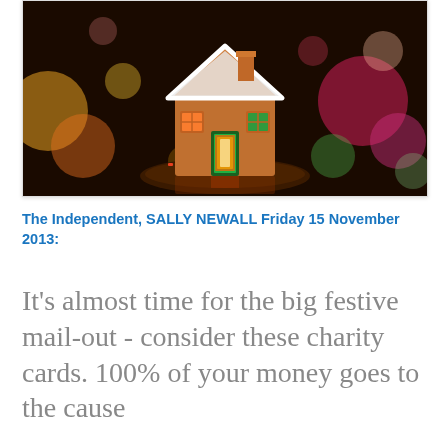[Figure (photo): Close-up photo of a decorative Christmas house figurine with illuminated red and green windows, set against a dark bokeh background with colorful blurred lights in red, yellow, green, and pink.]
The Independent, SALLY NEWALL Friday 15 November 2013:
It's almost time for the big festive mail-out - consider these charity cards. 100% of your money goes to the cause